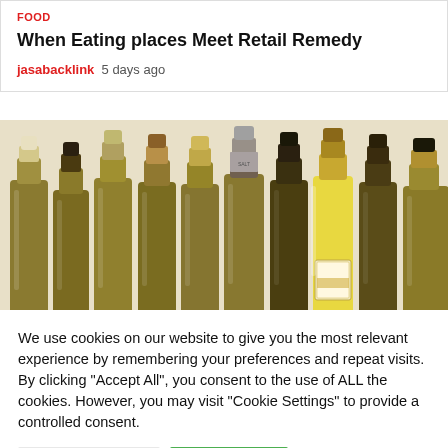FOOD
When Eating places Meet Retail Remedy
jasabacklink  5 days ago
[Figure (photo): Row of wine bottles with golden and dark glass against a white background]
We use cookies on our website to give you the most relevant experience by remembering your preferences and repeat visits. By clicking "Accept All", you consent to the use of ALL the cookies. However, you may visit "Cookie Settings" to provide a controlled consent.
Cookie Settings
Accept All